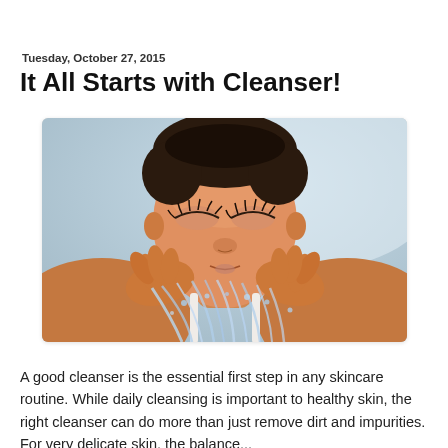Tuesday, October 27, 2015
It All Starts with Cleanser!
[Figure (photo): A woman with eyes closed, holding her hands up to her face as water splashes over her hands and face, appearing to wash her face with water. She has short dark hair and is wearing a white top. The background is a soft blue/white blur.]
A good cleanser is the essential first step in any skincare routine. While daily cleansing is important to healthy skin, the right cleanser can do more than just remove dirt and impurities. For very delicate skin, the balance...